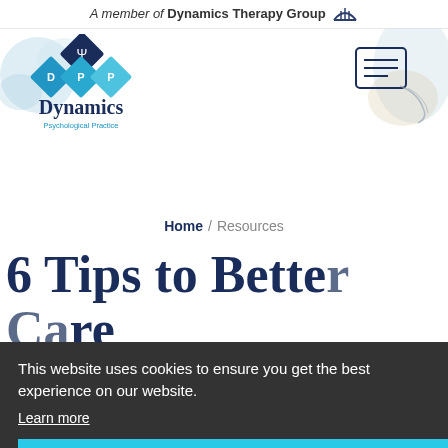A member of Dynamics Therapy Group
[Figure (logo): Dynamics Psychological Practice logo with blue diamond shapes and psi symbol]
[Figure (illustration): Hamburger menu icon (three horizontal lines in a square border)]
[Figure (illustration): Decorative watercolor blob top left]
[Figure (illustration): Decorative watercolor and hand illustration top right]
Home / Resources
6 Tips to Better Care ... al ... e
This website uses cookies to ensure you get the best experience on our website.
Learn more
Got it!
October 1, 2021